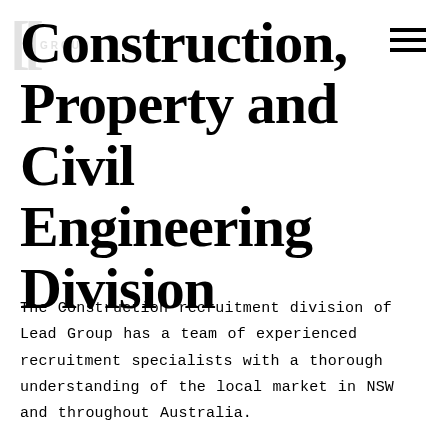[Figure (logo): Lead Group logo watermark in top-left, faint grey bracket and GROUP text]
Construction, Property and Civil Engineering Division
The Construction recruitment division of Lead Group has a team of experienced recruitment specialists with a thorough understanding of the local market in NSW and throughout Australia.